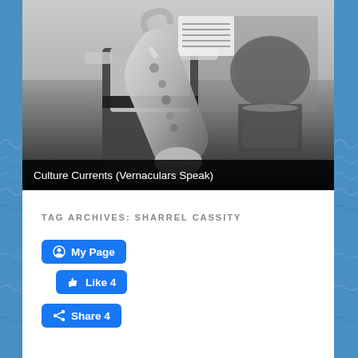[Figure (photo): Black and white photograph of a musician playing a large saxophone (likely baritone sax), with a drum kit visible in the background. The photo appears to be from a live performance or recording session.]
Culture Currents (Vernaculars Speak)
TAG ARCHIVES: SHARREL CASSITY
[Figure (screenshot): Facebook social plugin buttons: 'My Page' button, 'Like 4' button, and 'Share 4' button, all in Facebook blue.]